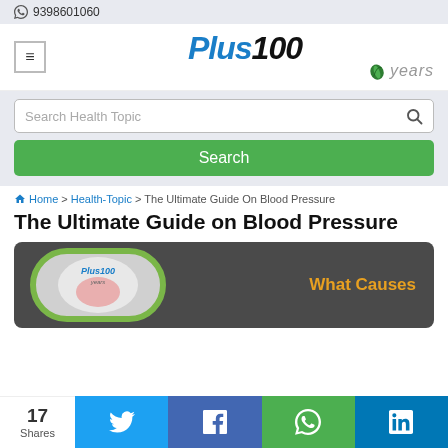9398601060
[Figure (logo): Plus100years logo with blue italic text and green leaf]
Search Health Topic
Search
Home > Health-Topic > The Ultimate Guide On Blood Pressure
The Ultimate Guide on Blood Pressure
[Figure (illustration): Dark background image showing a blood pressure monitor device on the left with Plus100years logo on it, and orange text 'What Causes' on the right]
17 Shares
Twitter share button, Facebook share button, WhatsApp share button, LinkedIn share button